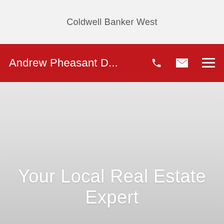Coldwell Banker West
Andrew Pheasant D...
Your Local Real Estate Expert